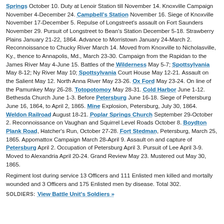Springs October 10. Duty at Lenoir Station till November 14. Knoxville Campaign November 4-December 24. Campbell's Station November 16. Siege of Knoxville November 17-December 5. Repulse of Longstreet's assault on Fort Saunders November 29. Pursuit of Longstreet to Bean's Station December 5-18. Strawberry Plains January 21-22, 1864. Advance to Morristown January 24-March 2. Reconnoissance to Chucky River March 14. Moved from Knoxville to Nicholasville, Ky., thence to Annapolis, Md., March 23-30. Campaign from the Rapidan to the James River May 4-June 15. Battles of the Wilderness May 5-7; Spottsylvania May 8-12; Ny River May 10; Spottsylvania Court House May 12-21. Assault on the Salient May 12. North Anna River May 23-26. Ox Ford May 23-24. On line of the Pamunkey May 26-28. Totopotomoy May 28-31. Cold Harbor June 1-12. Bethesda Church June 1-3. Before Petersburg June 16-18. Siege of Petersburg June 16, 1864, to April 2, 1865. Mine Explosion, Petersburg, July 30, 1864. Weldon Railroad August 18-21. Poplar Springs Church September 29-October 2. Reconnoissance on Vaughan and Squirrel Level Roads October 8. Boydton Plank Road, Hatcher's Run, October 27-28. Fort Stedman, Petersburg, March 25, 1865. Appomattox Campaign March 28-April 9. Assault on and capture of Petersburg April 2. Occupation of Petersburg April 3. Pursuit of Lee April 3-9. Moved to Alexandria April 20-24. Grand Review May 23. Mustered out May 30, 1865.
Regiment lost during service 13 Officers and 111 Enlisted men killed and mortally wounded and 3 Officers and 175 Enlisted men by disease. Total 302.
SOLDIERS: View Battle Unit's Soldiers »